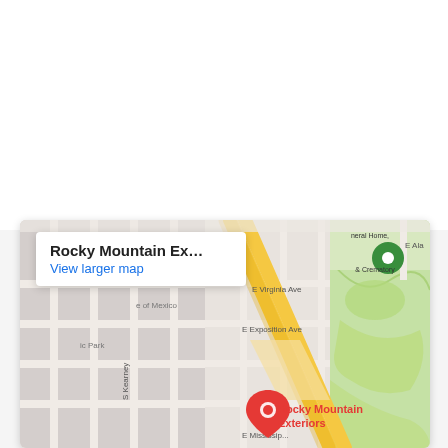[Figure (map): Google Maps screenshot showing Rocky Mountain Exteriors location with a red map pin, surrounded by streets including E Virginia Ave, E Exposition Ave, E Mississippi Ave, and S Kearney St. Green areas visible, yellow roads (likely highways) visible. An info box overlay shows 'Rocky Mountain Ex...' and 'View larger map' link.]